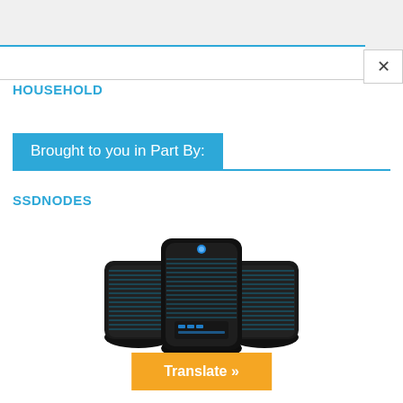HOUSEHOLD
Brought to you in Part By:
SSDNODES
[Figure (photo): Group of dark server rack towers with blue LED lights]
Translate »